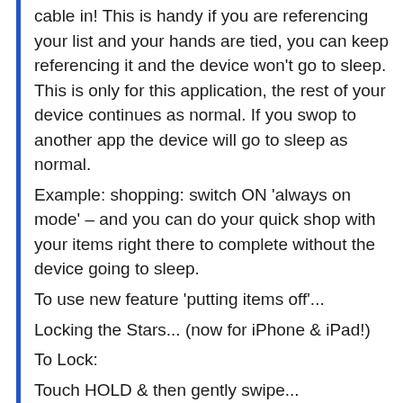cable in! This is handy if you are referencing your list and your hands are tied, you can keep referencing it and the device won't go to sleep. This is only for this application, the rest of your device continues as normal. If you swop to another app the device will go to sleep as normal.
Example: shopping: switch ON 'always on mode' – and you can do your quick shop with your items right there to complete without the device going to sleep.
To use new feature 'putting items off'...
Locking the Stars... (now for iPhone & iPad!)
To Lock:
Touch HOLD & then gently swipe...